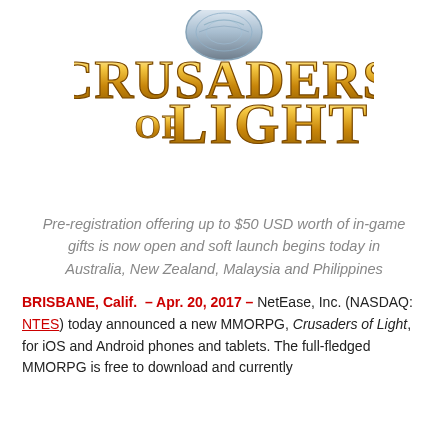[Figure (logo): Crusaders of Light game logo — large golden metallic lettering with a decorative silver circular ornament at top center]
Pre-registration offering up to $50 USD worth of in-game gifts is now open and soft launch begins today in Australia, New Zealand, Malaysia and Philippines
BRISBANE, Calif. – Apr. 20, 2017 – NetEase, Inc. (NASDAQ: NTES) today announced a new MMORPG, Crusaders of Light, for iOS and Android phones and tablets. The full-fledged MMORPG is free to download and currently